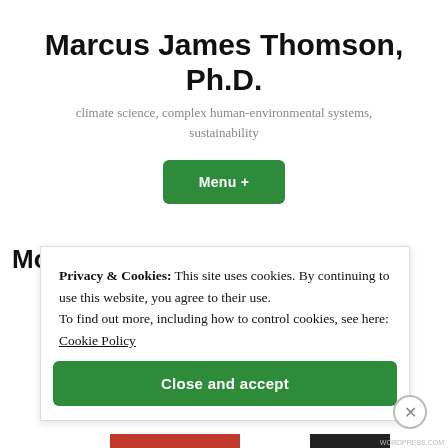Marcus James Thomson, Ph.D.
climate science, complex human-environmental systems, sustainability
Menu +
Modeling ancient history to
Privacy & Cookies: This site uses cookies. By continuing to use this website, you agree to their use.
To find out more, including how to control cookies, see here: Cookie Policy
Close and accept